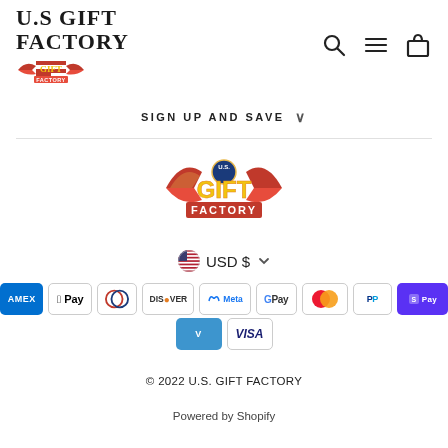[Figure (logo): U.S. Gift Factory logo — text logo in serif font with small branded graphic below]
[Figure (infographic): Header icons: search (magnifying glass), hamburger menu, shopping bag]
SIGN UP AND SAVE
[Figure (logo): U.S. Gift Factory color logo — wings, gold GIFT text, FACTORY banner]
USD $
[Figure (infographic): Payment method badges: American Express, Apple Pay, Diners, Discover, Meta Pay, Google Pay, Mastercard, PayPal, Shop Pay, Venmo, Visa]
© 2022 U.S. GIFT FACTORY
Powered by Shopify